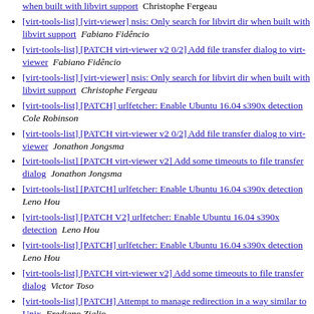[virt-tools-list] [virt-viewer] nsis: Only search for libvirt dir when built with libvirt support  Christophe Fergeau
[virt-tools-list] [virt-viewer] nsis: Only search for libvirt dir when built with libvirt support  Fabiano Fidêncio
[virt-tools-list] [PATCH virt-viewer v2 0/2] Add file transfer dialog to virt-viewer  Fabiano Fidêncio
[virt-tools-list] [virt-viewer] nsis: Only search for libvirt dir when built with libvirt support  Christophe Fergeau
[virt-tools-list] [PATCH] urlfetcher: Enable Ubuntu 16.04 s390x detection  Cole Robinson
[virt-tools-list] [PATCH virt-viewer v2 0/2] Add file transfer dialog to virt-viewer  Jonathon Jongsma
[virt-tools-list] [PATCH virt-viewer v2] Add some timeouts to file transfer dialog  Jonathon Jongsma
[virt-tools-list] [PATCH] urlfetcher: Enable Ubuntu 16.04 s390x detection  Leno Hou
[virt-tools-list] [PATCH V2] urlfetcher: Enable Ubuntu 16.04 s390x detection  Leno Hou
[virt-tools-list] [PATCH] urlfetcher: Enable Ubuntu 16.04 s390x detection  Leno Hou
[virt-tools-list] [PATCH virt-viewer v2] Add some timeouts to file transfer dialog  Victor Toso
[virt-tools-list] [PATCH] Attempt to manage redirection in a way similar to Unix  Frediano Ziglio
[virt-tools-list] [PATCH 1/3] Remove spice-xpi-client-remote-viewer  Fabiano Fidêncio